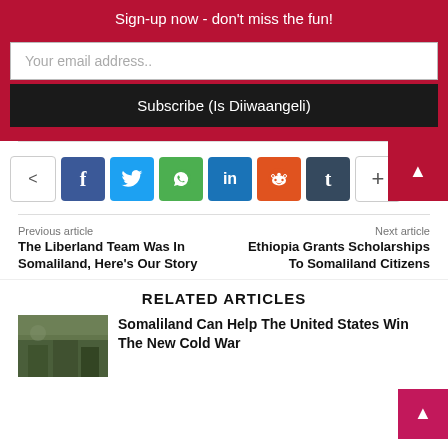Sign-up now - don't miss the fun!
Your email address..
Subscribe (Is Diiwaangeli)
[Figure (infographic): Social media share buttons: share icon, Facebook (f), Twitter (bird), WhatsApp, LinkedIn (in), Reddit (alien), Tumblr (t), More (+)]
Previous article
The Liberland Team Was In Somaliland, Here's Our Story
Next article
Ethiopia Grants Scholarships To Somaliland Citizens
RELATED ARTICLES
[Figure (photo): Thumbnail photo of soldiers or military scene]
Somaliland Can Help The United States Win The New Cold War